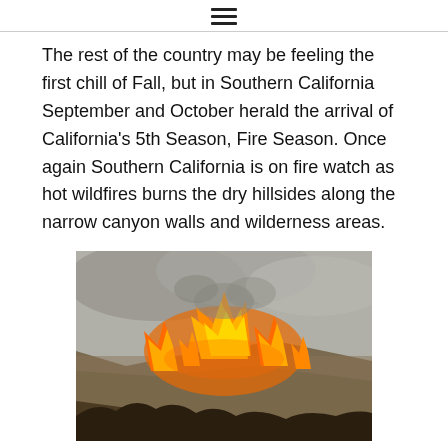≡
The rest of the country may be feeling the first chill of Fall, but in Southern California September and October herald the arrival of California's 5th Season, Fire Season. Once again Southern California is on fire watch as hot wildfires burns the dry hillsides along the narrow canyon walls and wilderness areas.
[Figure (photo): Photograph of a wildfire burning dry hillside brush and vegetation, with orange flames and smoke visible on a sloped landscape.]